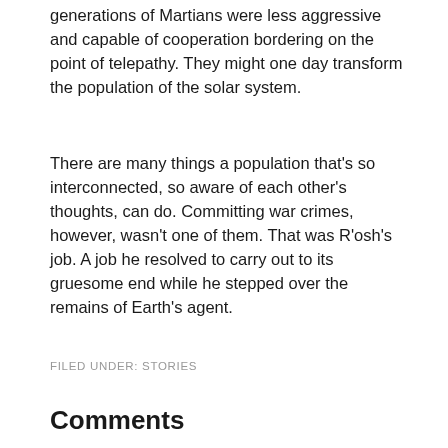generations of Martians were less aggressive and capable of cooperation bordering on the point of telepathy. They might one day transform the population of the solar system.
There are many things a population that's so interconnected, so aware of each other's thoughts, can do. Committing war crimes, however, wasn't one of them. That was R'osh's job. A job he resolved to carry out to its gruesome end while he stepped over the remains of Earth's agent.
FILED UNDER: STORIES
Comments